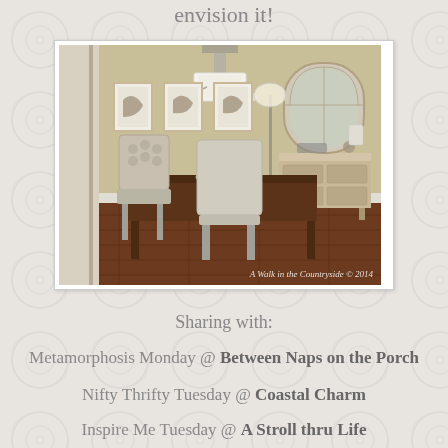envision it!
[Figure (photo): Interior photo of a dining room with dark wood table, upholstered chairs, chandelier, framed botanical prints on wall, arched mirror, and a painted sideboard/dresser. Watermark reads: A walk in the Countryside © 2014]
Sharing with:
Metamorphosis Monday @ Between Naps on the Porch
Nifty Thrifty Tuesday @ Coastal Charm
Inspire Me Tuesday @ A Stroll thru Life